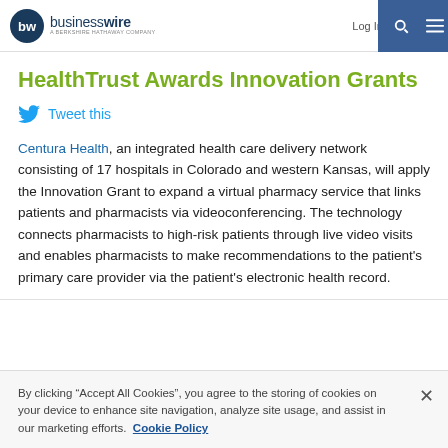businesswire — A Berkshire Hathaway Company | Log In | Sign Up
HealthTrust Awards Innovation Grants
Tweet this
Centura Health, an integrated health care delivery network consisting of 17 hospitals in Colorado and western Kansas, will apply the Innovation Grant to expand a virtual pharmacy service that links patients and pharmacists via videoconferencing. The technology connects pharmacists to high-risk patients through live video visits and enables pharmacists to make recommendations to the patient's primary care provider via the patient's electronic health record.
By clicking “Accept All Cookies”, you agree to the storing of cookies on your device to enhance site navigation, analyze site usage, and assist in our marketing efforts. Cookie Policy